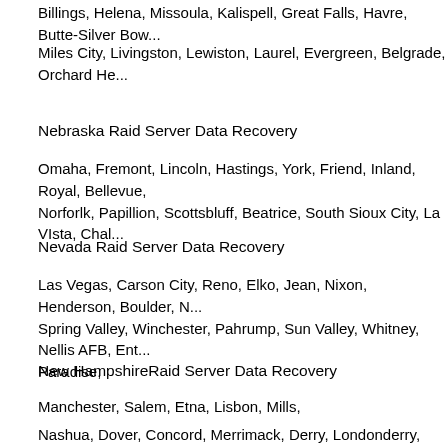Billings, Helena, Missoula, Kalispell, Great Falls, Havre, Butte-Silver Bow...
Miles City, Livingston, Lewiston, Laurel, Evergreen, Belgrade, Orchard He...
Nebraska Raid Server Data Recovery
Omaha, Fremont, Lincoln, Hastings, York, Friend, Inland, Royal, Bellevue, Norforlk, Papillion, Scottsbluff, Beatrice, South Sioux City, La VIsta, Chal...
Nevada Raid Server Data Recovery
Las Vegas, Carson City, Reno, Elko, Jean, Nixon, Henderson, Boulder, N... Spring Valley, Winchester, Pahrump, Sun Valley, Whitney, Nellis AFB, Ent... Paradise,
New HampshireRaid Server Data Recovery
Manchester, Salem, Etna, Lisbon, Mills,
Nashua, Dover, Concord, Merrimack, Derry, Londonderry, Rochester, Hu... Lebanon, Londonderry, Berlin, Exeter, Hampton, Milford, Hudson,